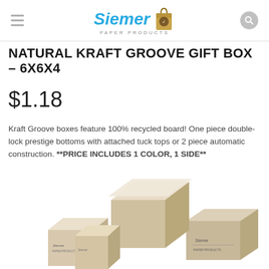Siemer Paper Products
NATURAL KRAFT GROOVE GIFT BOX – 6X6X4
$1.18
Kraft Groove boxes feature 100% recycled board! One piece double-lock prestige bottoms with attached tuck tops or 2 piece automatic construction. **PRICE INCLUDES 1 COLOR, 1 SIDE**
[Figure (photo): Multiple natural kraft groove gift boxes stacked and arranged showing tops and sides]